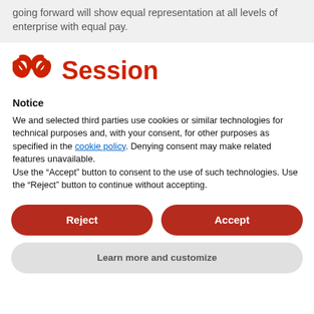going forward will show equal representation at all levels of enterprise with equal pay.
[Figure (logo): Session app logo: red stylized infinity/loop icon followed by the word 'Session' in bold red text]
Notice
We and selected third parties use cookies or similar technologies for technical purposes and, with your consent, for other purposes as specified in the cookie policy. Denying consent may make related features unavailable.
Use the “Accept” button to consent to the use of such technologies. Use the “Reject” button to continue without accepting.
Reject
Accept
Learn more and customize